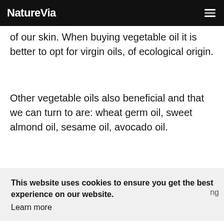NatureVia
of our skin. When buying vegetable oil it is better to opt for virgin oils, of ecological origin.
Other vegetable oils also beneficial and that we can turn to are: wheat germ oil, sweet almond oil, sesame oil, avocado oil.
This website uses cookies to ensure you get the best experience on our website.
Learn more